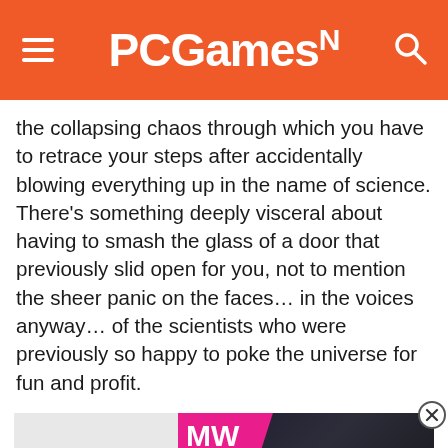PCGamesN
the collapsing chaos through which you have to retrace your steps after accidentally blowing everything up in the name of science. There’s something deeply visceral about having to smash the glass of a door that previously slid open for you, not to mention the sheer panic on the faces… in the voices anyway… of the scientists who were previously so happy to poke the universe for fun and profit.
[Figure (screenshot): Embedded video advertisement for 'Embracer Group Buy LOTR Rights' from Millvideo (MW) with a pink brand logo, play button overlay, and dark background showing a person's face.]